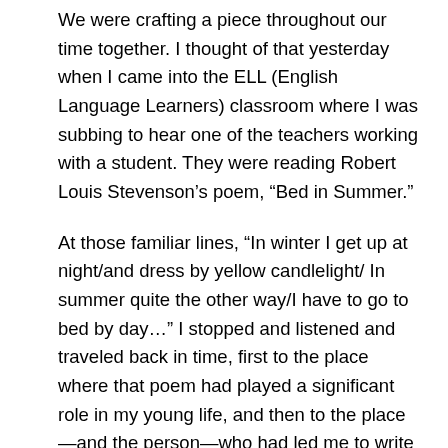We were crafting a piece throughout our time together. I thought of that yesterday when I came into the ELL (English Language Learners) classroom where I was subbing to hear one of the teachers working with a student. They were reading Robert Louis Stevenson's poem, “Bed in Summer.”
At those familiar lines, “In winter I get up at night/and dress by yellow candlelight/ In summer quite the other way/I have to go to bed by day…” I stopped and listened and traveled back in time, first to the place where that poem had played a significant role in my young life, and then to the place—and the person—who had led me to write about it: Linda Rief.
She has been one of my inspirations as a teacher, and